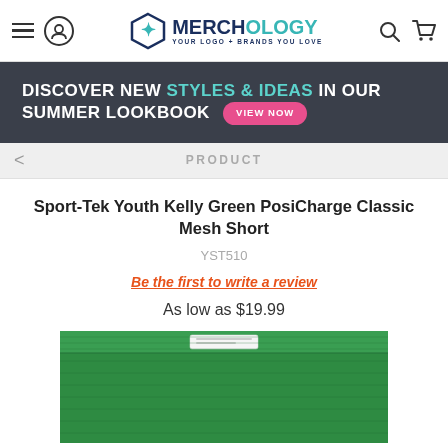Merchology — Your Logo + Brands You Love
DISCOVER NEW STYLES & IDEAS IN OUR SUMMER LOOKBOOK VIEW NOW
< PRODUCT
Sport-Tek Youth Kelly Green PosiCharge Classic Mesh Short
YST510
Be the first to write a review
As low as $19.99
[Figure (photo): Green athletic mesh shorts with white waistband label, showing waistband and upper portion of the shorts.]